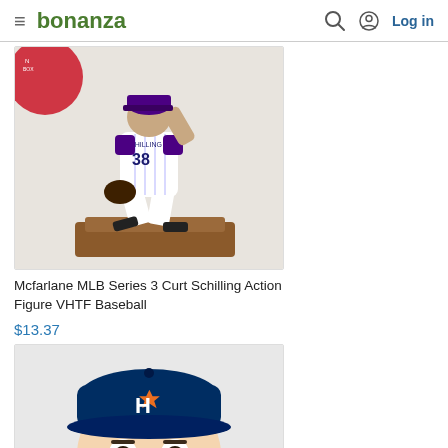bonanza  Log in
[Figure (photo): McFarlane MLB Series 3 Curt Schilling action figure in white pinstripe uniform #38 in pitching pose on a brown base, with red circular background element partially visible]
Mcfarlane MLB Series 3 Curt Schilling Action Figure VHTF Baseball
$13.37
[Figure (photo): Funko Pop style bobblehead figure wearing Houston Astros navy blue cap with orange H logo]